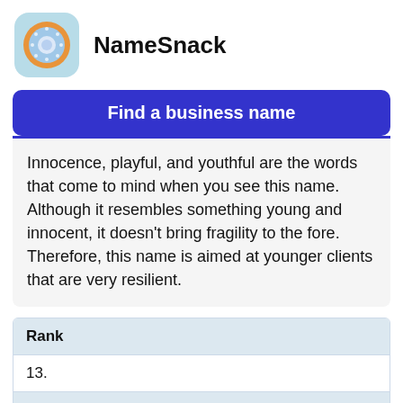NameSnack
Find a business name
Innocence, playful, and youthful are the words that come to mind when you see this name. Although it resembles something young and innocent, it doesn't bring fragility to the fore. Therefore, this name is aimed at younger clients that are very resilient.
| Rank |
| --- |
| 13. |
| Business Name |
Business Name